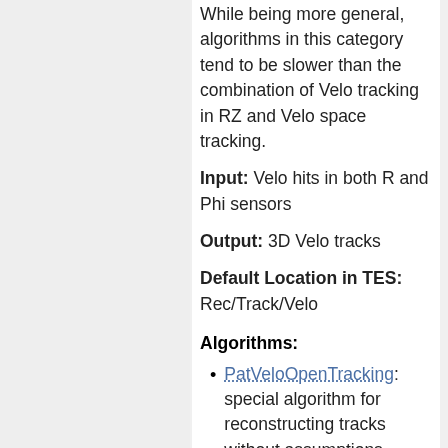While being more general, algorithms in this category tend to be slower than the combination of Velo tracking in RZ and Velo space tracking.
Input: Velo hits in both R and Phi sensors
Output: 3D Velo tracks
Default Location in TES: Rec/Track/Velo
Algorithms:
PatVeloOpenTracking: special algorithm for reconstructing tracks without assumptions about track parameters (e.g. to reconstruct with the Velo in open position), requires hits in consecutive sensors